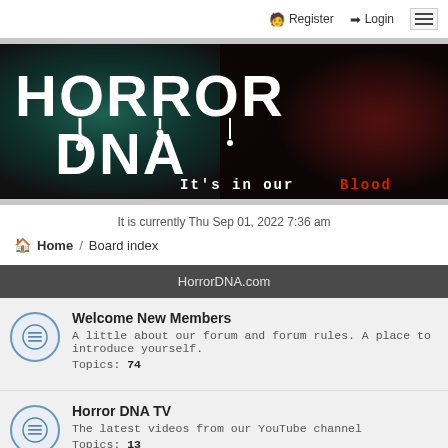Register  Login
[Figure (illustration): HorrorDNA banner with dark teal smoke and red background, white bold text reading HORROR DNA, tagline It's in our Blood]
It is currently Thu Sep 01, 2022 7:36 am
Home / Board index
HorrorDNA.com
Welcome New Members
A little about our forum and forum rules. A place to introduce yourself.
Topics: 74
Horror DNA TV
The latest videos from our YouTube channel
Topics: 13